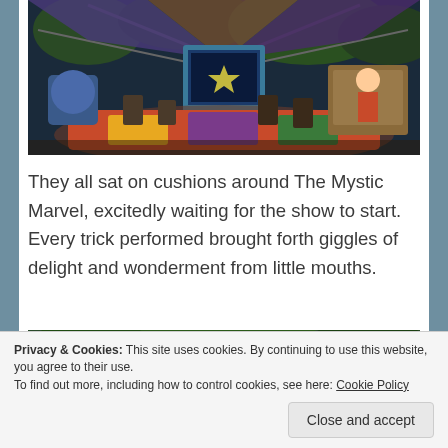[Figure (screenshot): Screenshot from a video game (The Sims) showing a colorful outdoor party scene with a magic show booth, cushions, chairs, and decorations under a tent canopy at night]
They all sat on cushions around The Mystic Marvel, excitedly waiting for the show to start. Every trick performed brought forth giggles of delight and wonderment from little mouths.
[Figure (screenshot): Screenshot from a video game (The Sims) showing colorful outdoor scene with blue structures and characters in bright clothing]
Privacy & Cookies: This site uses cookies. By continuing to use this website, you agree to their use.
To find out more, including how to control cookies, see here: Cookie Policy
Close and accept